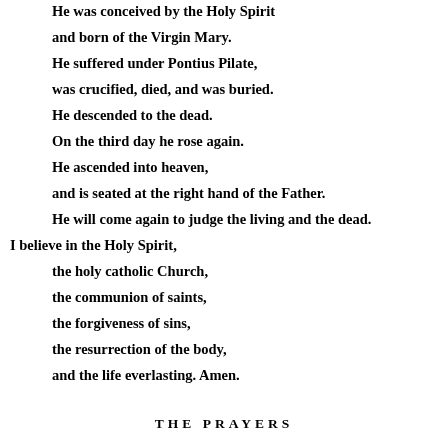He was conceived by the Holy Spirit
and born of the Virgin Mary.
He suffered under Pontius Pilate,
was crucified, died, and was buried.
He descended to the dead.
On the third day he rose again.
He ascended into heaven,
and is seated at the right hand of the Father.
He will come again to judge the living and the dead.
I believe in the Holy Spirit,
the holy catholic Church,
the communion of saints,
the forgiveness of sins,
the resurrection of the body,
and the life everlasting. Amen.
THE PRAYERS